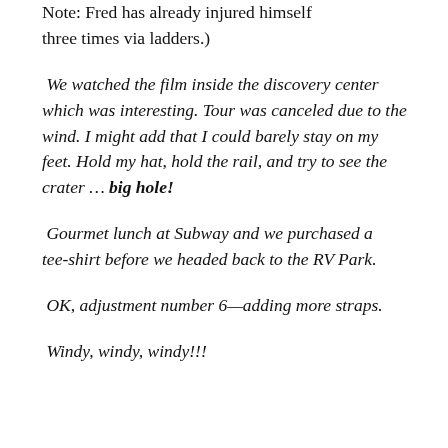Note: Fred has already injured himself three times via ladders.)
We watched the film inside the discovery center which was interesting. Tour was canceled due to the wind. I might add that I could barely stay on my feet. Hold my hat, hold the rail, and try to see the crater … big hole!
Gourmet lunch at Subway and we purchased a tee-shirt before we headed back to the RV Park.
OK, adjustment number 6—adding more straps.
Windy, windy, windy!!!